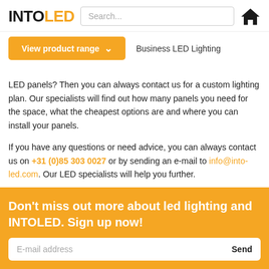INTOLED | Search... | Home
View product range ▾   Business LED Lighting
LED panels? Then you can always contact us for a custom lighting plan. Our specialists will find out how many panels you need for the space, what the cheapest options are and where you can install your panels.

If you have any questions or need advice, you can always contact us on +31 (0)85 303 0027 or by sending an e-mail to info@into-led.com. Our LED specialists will help you further.
Don't miss out more about led lighting and INTOLED. Sign up now!
E-mail address   Send